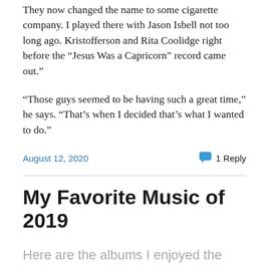They now changed the name to some cigarette company. I played there with Jason Isbell not too long ago. Kristofferson and Rita Coolidge right before the “Jesus Was a Capricorn” record came out.”
“Those guys seemed to be having such a great time,” he says. “That’s when I decided that’s what I wanted to do.”
August 12, 2020
1 Reply
My Favorite Music of 2019
Here are the albums I enjoyed the most this past year. Three of them — Hiss